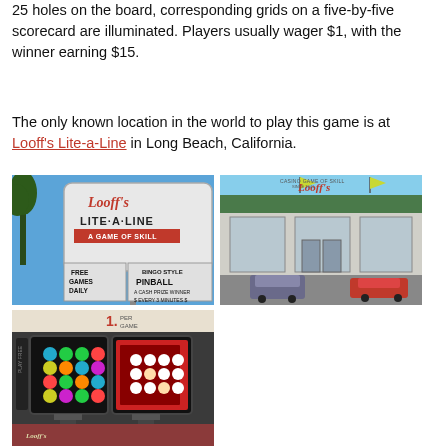25 holes on the board, corresponding grids on a five-by-five scorecard are illuminated. Players usually wager $1, with the winner earning $15.
The only known location in the world to play this game is at Looff's Lite-a-Line in Long Beach, California.
[Figure (photo): Looff's Lite-a-Line outdoor sign reading 'FREE GAMES DAILY' and 'BINGO STYLE PINBALL A CASH PRIZE WINNER EVERY 3 MINUTES']
[Figure (photo): Exterior of Looff's Casino Game of Skill building with parking lot and cars]
[Figure (photo): Interior showing pinball scorecard display screens with lit circles in a grid pattern]